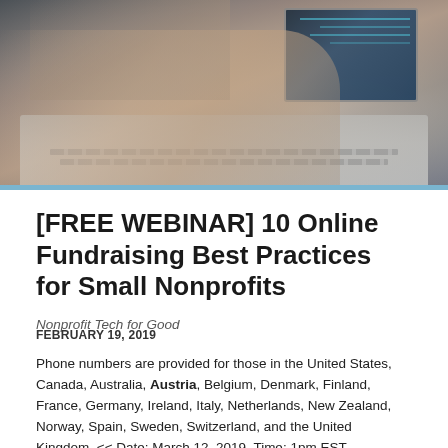[Figure (photo): Overhead view of hands typing on a laptop keyboard]
[FREE WEBINAR] 10 Online Fundraising Best Practices for Small Nonprofits
Nonprofit Tech for Good
FEBRUARY 19, 2019
Phone numbers are provided for those in the United States, Canada, Australia, Austria, Belgium, Denmark, Finland, France, Germany, Ireland, Italy, Netherlands, New Zealand, Norway, Spain, Sweden, Switzerland, and the United Kingdom. << Date: March 12, 2019. Time: 1pm EST. Presented by: Heather Mansfield, Founder of Nonprofit Tech